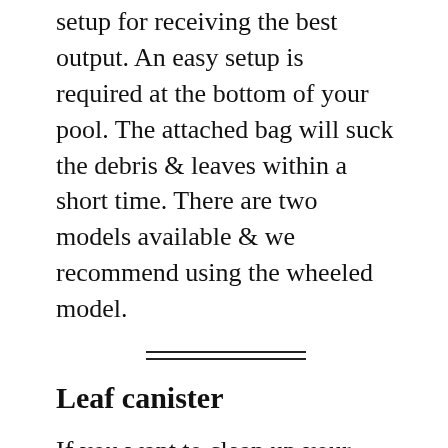setup for receiving the best output. An easy setup is required at the bottom of your pool. The attached bag will suck the debris & leaves within a short time. There are two models available & we recommend using the wheeled model.
Leaf canister
If you want to clean up your pool in the fastest way, a pool vacuum leaf canister should be chosen. It works fully on its own & saves a bit of your stamina & time. This canister prevents the leaves from damaging the motor when it’s on run. This machine requires an expensive setup. With the help of its 3 feet extension hose, you can run it beneficially for a long time. As this tool won’t empty itself, you need to clean it from time to time.